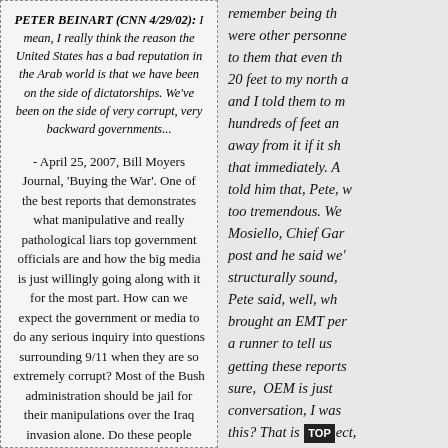PETER BEINART (CNN 4/29/02): I mean, I really think the reason the United States has a bad reputation in the Arab world is that we have been on the side of dictatorships. We've been on the side of very corrupt, very backward governments...
- April 25, 2007, Bill Moyers Journal, 'Buying the War'. One of the best reports that demonstrates what manipulative and really pathological liars top government officials are and how the big media is just willingly going along with it for the most part. How can we expect the government or media to do any serious inquiry into questions surrounding 9/11 when they are so extremely corrupt? Most of the Bush administration should be jail for their manipulations over the Iraq invasion alone. Do these people really care about killing a few thousand American citizens? Highly doubtful.
remember being th... were other personne... to them that even th... 20 feet to my north a... and I told them to m... hundreds of feet an... away from it if it sh... that immediately. A... told him that, Pete, w... too tremendous. We... Mosiello, Chief Gar... post and he said we'... structurally sound, ... Pete said, well, wh... brought an EMT per... a runner to tell us ... getting these reports... sure, OEM is just... conversation, I was ... this? That is [TOP] ect,... We were not in the g... Th t thi H